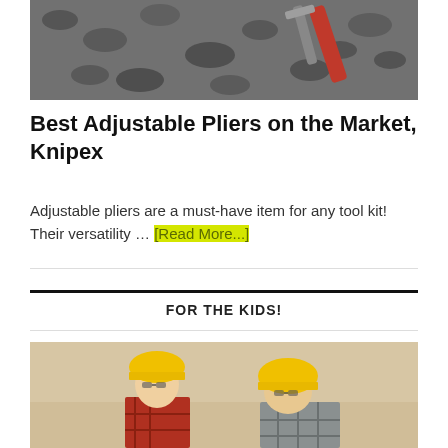[Figure (photo): Photo of adjustable pliers/wrench on gravel background with red handle visible]
Best Adjustable Pliers on the Market, Knipex
Adjustable pliers are a must-have item for any tool kit! Their versatility … [Read More...]
FOR THE KIDS!
[Figure (photo): Photo of two children wearing yellow hard hats and safety glasses working together, dressed in plaid and red shirts]